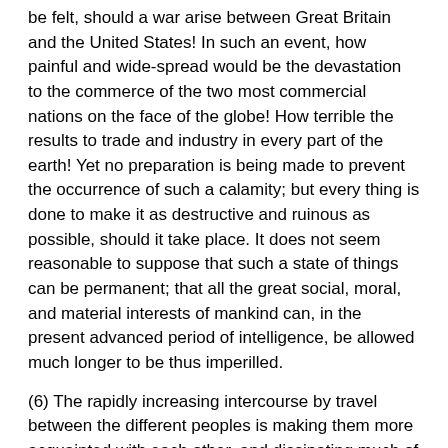be felt, should a war arise between Great Britain and the United States! In such an event, how painful and wide-spread would be the devastation to the commerce of the two most commercial nations on the face of the globe! How terrible the results to trade and industry in every part of the earth! Yet no preparation is being made to prevent the occurrence of such a calamity; but every thing is done to make it as destructive and ruinous as possible, should it take place. It does not seem reasonable to suppose that such a state of things can be permanent; that all the great social, moral, and material interests of mankind can, in the present advanced period of intelligence, be allowed much longer to be thus imperilled.
(6) The rapidly increasing intercourse by travel between the different peoples is making them more acquainted with each other, and dissipating much of that ignorance and prejudice which, in times past, has been a prolific source of jealousy and distrust.
(c) The education of the masses, their gradual progress in knowledge, and their growing influence in public affairs, is another very hopeful indication. The people are being enlightened, and are becoming too "wise" to be made the dupes of a system of which they are the greatest victims.*